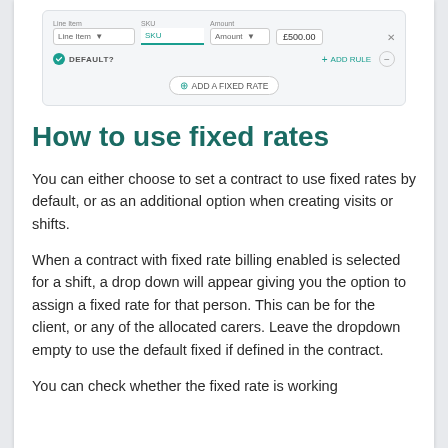[Figure (screenshot): UI screenshot showing a form row with Line Item, SKU, Amount fields and a value of £500.00, plus DEFAULT? checkbox, + ADD RULE button, minus button, and an + ADD A FIXED RATE button at the bottom]
How to use fixed rates
You can either choose to set a contract to use fixed rates by default, or as an additional option when creating visits or shifts.
When a contract with fixed rate billing enabled is selected for a shift, a drop down will appear giving you the option to assign a fixed rate for that person. This can be for the client, or any of the allocated carers. Leave the dropdown empty to use the default fixed if defined in the contract.
You can check whether the fixed rate is working